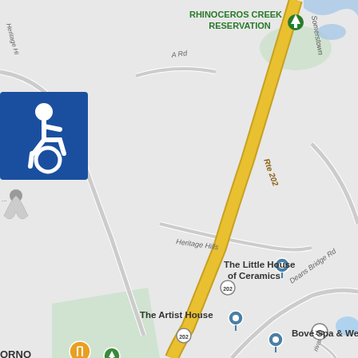[Figure (map): Google Maps screenshot showing an area around Route 202 (Somerstown Road / Rte 202) in what appears to be New York state. Features include Rhinoceros Creek Reservation (with green tree icon) in the upper portion, Heritage Hills road labels, A Rd, Deans Bridge Rd, Marshall Ct, and Route 116. Points of interest include The Little House of Ceramics (with location pin), The Artist House (with location pin), Bové Spa & Wellness (with location pin), Ivandell Cemetery (with green tree icon), USMANTIS (with blue shopping bag icon), and a restaurant icon at bottom left labeled ORNO. A blue accessibility (wheelchair) icon is visible in the upper left corner. Route 202 runs diagonally as a prominent yellow road. A blue water feature (river or pond) is visible in the upper right.]